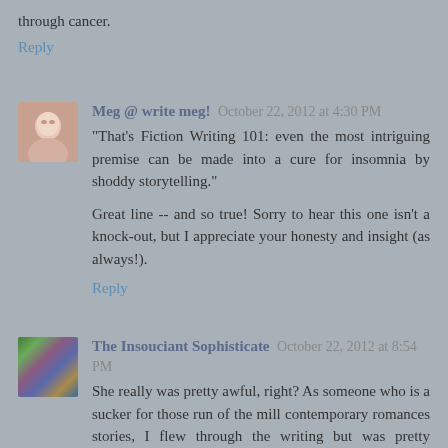through cancer.
Reply
Meg @ write meg!  October 22, 2012 at 4:30 PM
"That's Fiction Writing 101: even the most intriguing premise can be made into a cure for insomnia by shoddy storytelling."

Great line -- and so true! Sorry to hear this one isn't a knock-out, but I appreciate your honesty and insight (as always!).
Reply
The Insouciant Sophisticate  October 22, 2012 at 8:54 PM
She really was pretty awful, right? As someone who is a sucker for those run of the mill contemporary romances stories, I flew through the writing but was pretty irritated by Mia. Great review!